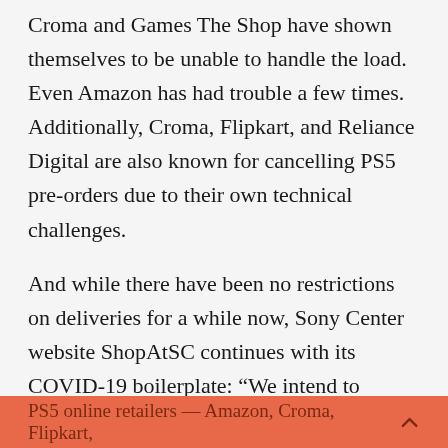Croma and Games The Shop have shown themselves to be unable to handle the load. Even Amazon has had trouble a few times. Additionally, Croma, Flipkart, and Reliance Digital are also known for cancelling PS5 pre-orders due to their own technical challenges.
And while there have been no restrictions on deliveries for a while now, Sony Center website ShopAtSC continues with its COVID-19 boilerplate: “We intend to deliver your allocated stocks around 30th June 2022 and onwards — however please expect a delay in our delivery services which might get impacted due to regulations imposed by lockdown/curfew in your locations.” Expect the rest of the official
PS5 online retailers — Amazon, Croma, Flipkart,